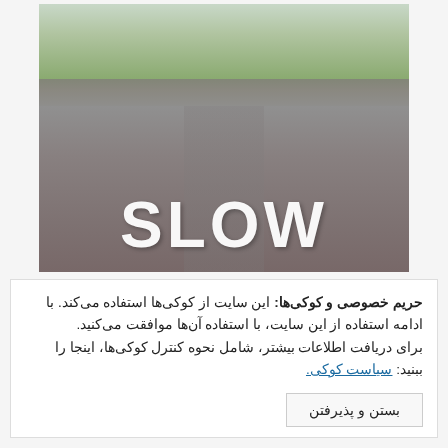[Figure (photo): A road with the word SLOW painted in large white letters on the asphalt, stretching into the distance with green moorland on either side.]
حریم خصوصی و کوکی‌ها: این سایت از کوکی‌ها استفاده می‌کند. با ادامه استفاده از این سایت، با استفاده آن‌ها موافقت می‌کنید. برای دریافت اطلاعات بیشتر، شامل نحوه کنترل کوکی‌ها، اینجا را ببنید: سیاست کوکی.
بستن و پذیرفتن